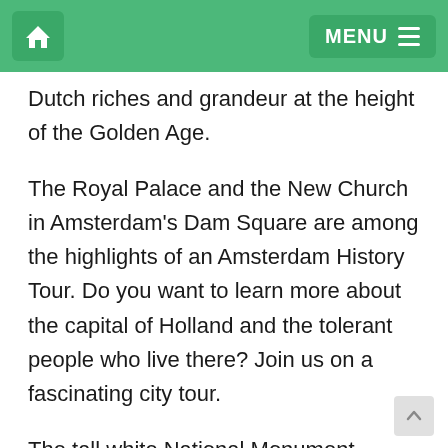MENU
Dutch riches and grandeur at the height of the Golden Age.
The Royal Palace and the New Church in Amsterdam's Dam Square are among the highlights of an Amsterdam History Tour. Do you want to learn more about the capital of Holland and the tolerant people who live there? Join us on a fascinating city tour.
The tall white National Monument, erected in 1956 to memorialize the fallen of WWII, lies on the eastern extremity of Dam Square. J.J.P